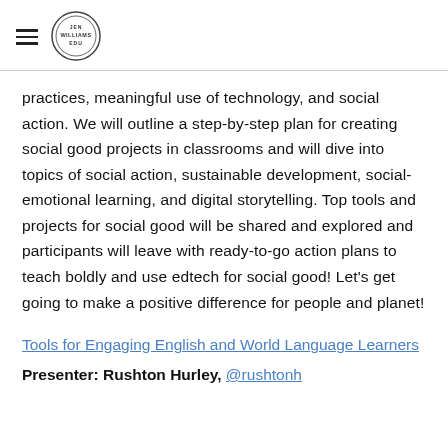Jen Williams EDU (logo)
practices, meaningful use of technology, and social action. We will outline a step-by-step plan for creating social good projects in classrooms and will dive into topics of social action, sustainable development, social-emotional learning, and digital storytelling. Top tools and projects for social good will be shared and explored and participants will leave with ready-to-go action plans to teach boldly and use edtech for social good! Let’s get going to make a positive difference for people and planet!
Tools for Engaging English and World Language Learners
Presenter: Rushton Hurley, @rushtonh